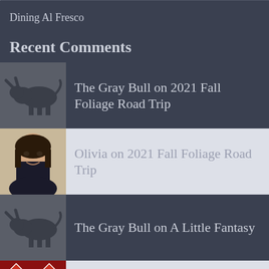Dining Al Fresco
Recent Comments
The Gray Bull on 2021 Fall Foliage Road Trip
Olivia on 2021 Fall Foliage Road Trip
The Gray Bull on A Little Fantasy
Mel Hughlett on A Little Fantasy
Archives